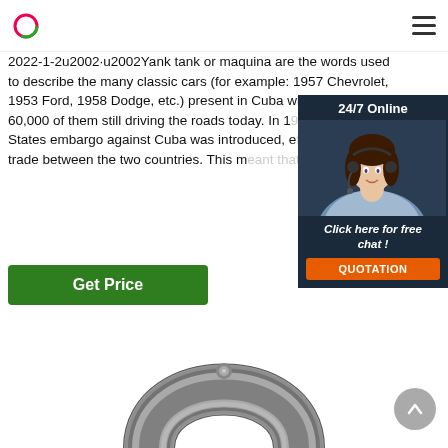[logo] [hamburger menu]
2022-1-2u2002·u2002Yank tank or maquina are the words used to describe the many classic cars (for example: 1957 Chevrolet, 1953 Ford, 1958 Dodge, etc.) present in Cuba with an estimated 60,000 of them still driving the roads today. In 1962, a United States embargo against Cuba was introduced, effectively cutting trade between the two countries. This meant that new cars in ...
[Figure (infographic): 24/7 Online chat widget with female customer service agent wearing headset, dark navy background, orange QUOTATION button, text: Click here for free chat!]
[Figure (other): Green Get Price call-to-action button]
[Figure (photo): Close-up photo of a metallic U-shaped shackle or thimble ring, dark steel grey color on white background]